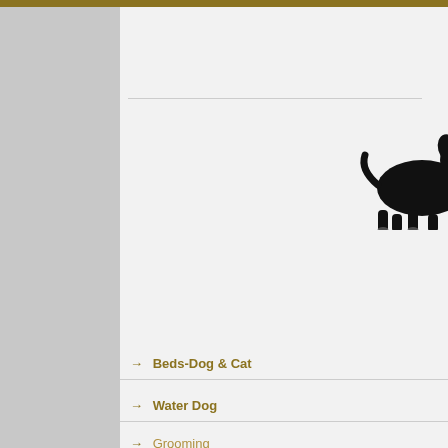[Figure (illustration): Black dog (Newfoundland) silhouette facing right, dark background removed, on white page header area]
Th
Secu
Store Policies
→ Beds-Dog & Cat
→ Water Dog
→ Grooming
→ Shampoo/Conditioner/Coat Sprays
→ Poly Pet Tubs
Accepted Methods of Paym
Secure Shopping Cart-GeoT
Shipping Time. The time nee